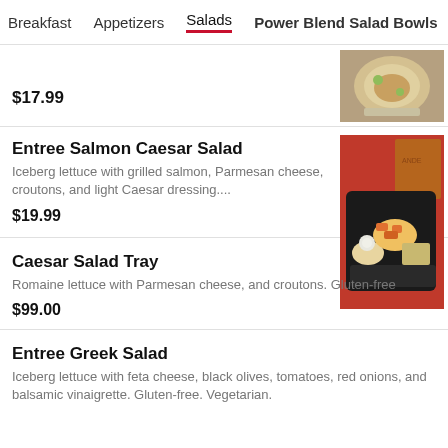Breakfast  Appetizers  Salads  Power Blend Salad Bowls  ...
$17.99
[Figure (photo): Food item in a bowl, top-down view]
Entree Salmon Caesar Salad
Iceberg lettuce with grilled salmon, Parmesan cheese, croutons, and light Caesar dressing....
$19.99
[Figure (photo): Salmon Caesar Salad in a black tray with dressing on the side, from a restaurant with a brown paper bag on a red background]
Caesar Salad Tray
Romaine lettuce with Parmesan cheese, and croutons. Gluten-free
$99.00
Entree Greek Salad
Iceberg lettuce with feta cheese, black olives, tomatoes, red onions, and balsamic vinaigrette. Gluten-free. Vegetarian.